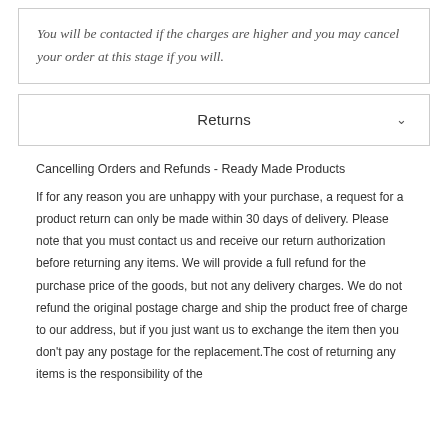You will be contacted if the charges are higher and you may cancel your order at this stage if you will.
Returns
Cancelling Orders and Refunds - Ready Made Products
If for any reason you are unhappy with your purchase, a request for a product return can only be made within 30 days of delivery. Please note that you must contact us and receive our return authorization before returning any items. We will provide a full refund for the purchase price of the goods, but not any delivery charges. We do not refund the original postage charge and ship the product free of charge to our address, but if you just want us to exchange the item then you don't pay any postage for the replacement.The cost of returning any items is the responsibility of the